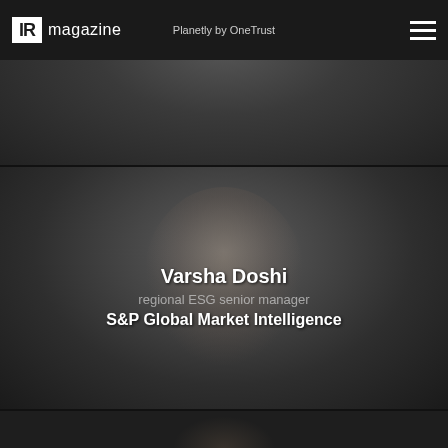IR magazine | Planetly by OneTrust
[Figure (photo): Partially visible photo of a person in a suit, cropped, black and white tones]
Director of strategy
Planetly by OneTrust
[Figure (photo): Black and white portrait photo of Varsha Doshi, regional ESG senior manager at S&P Global Market Intelligence]
Varsha Doshi
regional ESG senior manager
S&P Global Market Intelligence
[Figure (photo): Partially visible photo of a third person, cropped at bottom of page, black and white]